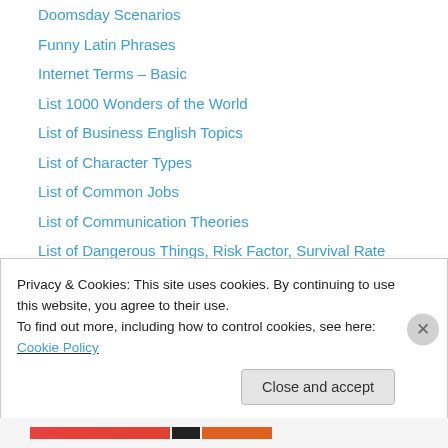Doomsday Scenarios
Funny Latin Phrases
Internet Terms – Basic
List 1000 Wonders of the World
List of Business English Topics
List of Character Types
List of Common Jobs
List of Communication Theories
List of Dangerous Things, Risk Factor, Survival Rate
List of Debate Topics (300+)
List of Events in American History
List of Events in British History
List of Famous People
List of Forms of Government
Privacy & Cookies: This site uses cookies. By continuing to use this website, you agree to their use.
To find out more, including how to control cookies, see here: Cookie Policy
Close and accept